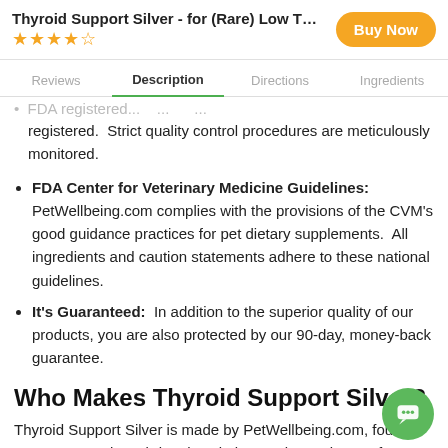Thyroid Support Silver - for (Rare) Low Thyro...
★★★★☆
Buy Now
Reviews | Description | Directions | Ingredients
FDA registered. Strict quality control procedures are meticulously monitored.
FDA Center for Veterinary Medicine Guidelines: PetWellbeing.com complies with the provisions of the CVM's good guidance practices for pet dietary supplements. All ingredients and caution statements adhere to these national guidelines.
It's Guaranteed: In addition to the superior quality of our products, you are also protected by our 90-day, money-back guarantee.
Who Makes Thyroid Support Silver?
Thyroid Support Silver is made by PetWellbeing.com, found 2001. Our goal? To bring the wisdom and experience of our c... holistic veterinarians to your pet. When your pet is healthy you're